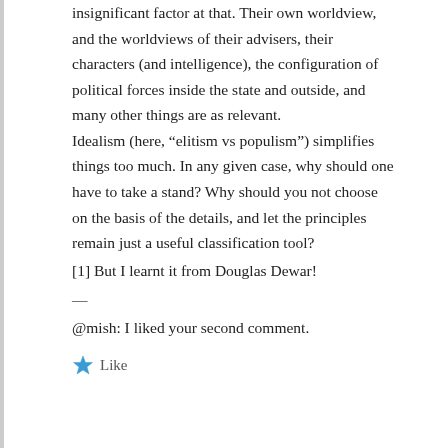insignificant factor at that. Their own worldview, and the worldviews of their advisers, their characters (and intelligence), the configuration of political forces inside the state and outside, and many other things are as relevant.
Idealism (here, “elitism vs populism”) simplifies things too much. In any given case, why should one have to take a stand? Why should you not choose on the basis of the details, and let the principles remain just a useful classification tool?
[1] But I learnt it from Douglas Dewar!
—
@mish: I liked your second comment.
Like